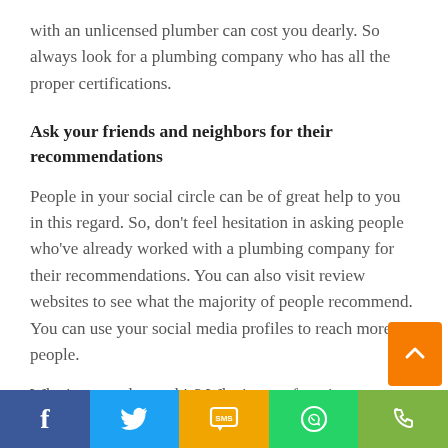with an unlicensed plumber can cost you dearly. So always look for a plumbing company who has all the proper certifications.
Ask your friends and neighbors for their recommendations
People in your social circle can be of great help to you in this regard. So, don't feel hesitation in asking people who've already worked with a plumbing company for their recommendations. You can also visit review websites to see what the majority of people recommend. You can use your social media profiles to reach more people.
What's your take on this? What's your favorite